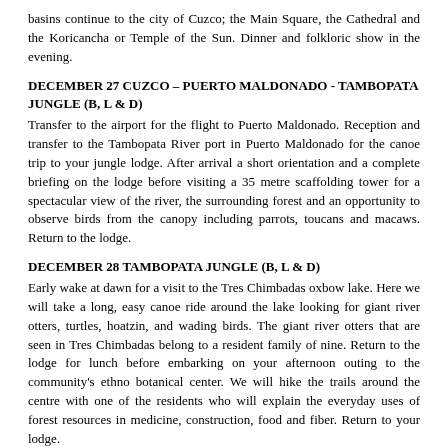basins continue to the city of Cuzco; the Main Square, the Cathedral and the Koricancha or Temple of the Sun. Dinner and folkloric show in the evening.
DECEMBER 27 CUZCO – PUERTO MALDONADO - TAMBOPATA JUNGLE (B, L & D)
Transfer to the airport for the flight to Puerto Maldonado. Reception and transfer to the Tambopata River port in Puerto Maldonado for the canoe trip to your jungle lodge. After arrival a short orientation and a complete briefing on the lodge before visiting a 35 metre scaffolding tower for a spectacular view of the river, the surrounding forest and an opportunity to observe birds from the canopy including parrots, toucans and macaws. Return to the lodge.
DECEMBER 28 TAMBOPATA JUNGLE (B, L & D)
Early wake at dawn for a visit to the Tres Chimbadas oxbow lake. Here we will take a long, easy canoe ride around the lake looking for giant river otters, turtles, hoatzin, and wading birds. The giant river otters that are seen in Tres Chimbadas belong to a resident family of nine. Return to the lodge for lunch before embarking on your afternoon outing to the community's ethno botanical center. We will hike the trails around the centre with one of the residents who will explain the everyday uses of forest resources in medicine, construction, food and fiber. Return to your lodge.
DECEMBER 29 TAMBOPATA JUNGLE – PUERTO MALDONADO – LIMA (B)
After an early breakfast departure by boat back to the city of Puerto Maldonado, directly to the airport, for your return flight to Lima.